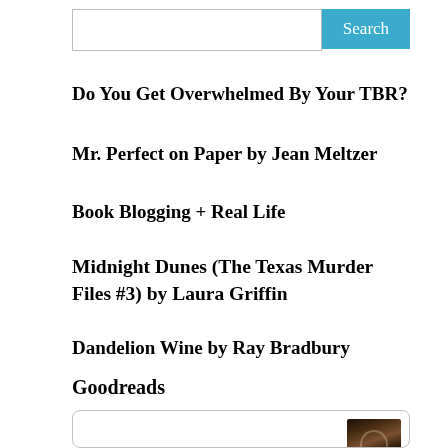[Figure (screenshot): Search input box with Search button in teal/blue]
Do You Get Overwhelmed By Your TBR?
Mr. Perfect on Paper by Jean Meltzer
Book Blogging + Real Life
Midnight Dunes (The Texas Murder Files #3) by Laura Griffin
Dandelion Wine by Ray Bradbury
Goodreads
[Figure (screenshot): Goodreads widget box with book cover thumbnail in bottom right corner]